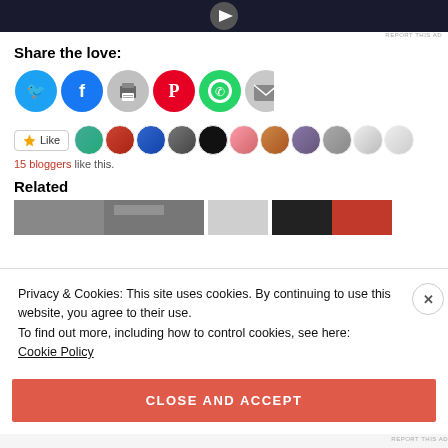[Figure (screenshot): Dark banner image at top of page, partially visible]
REPORT THIS AD
Share the love:
[Figure (infographic): Social sharing icons: Twitter (blue), Facebook (blue), Print (gray), Pinterest (red), WhatsApp (green), Email (gray)]
[Figure (screenshot): Like button and row of blogger avatar profile photos. 15 bloggers like this.]
15 bloggers like this.
Related
[Figure (photo): Two related article thumbnail images, black and white urban scenes]
Privacy & Cookies: This site uses cookies. By continuing to use this website, you agree to their use.
To find out more, including how to control cookies, see here:
Cookie Policy
CLOSE AND ACCEPT